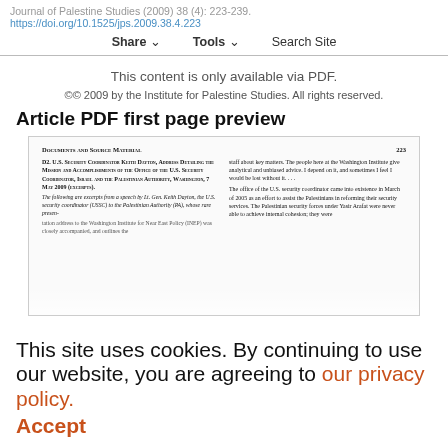Journal of Palestine Studies (2009) 38 (4): 223-239. https://doi.org/10.1525/jps.2009.38.4.223
Share  Tools  Search Site
This content is only available via PDF.
©© 2009 by the Institute for Palestine Studies. All rights reserved.
Article PDF first page preview
[Figure (screenshot): Preview of a PDF document page showing 'Documents and Source Material' section header with page number 223. Left column contains bold small-caps heading 'D2. U.S. Security Coordinator Keith Dayton, Address Detailing the Mission and Accomplishments of the Office of the U.S. Security Coordinator, Israel and the Palestinian Authority, Washington, 7 May 2009 (excerpts).' followed by italic text about excerpts from a speech. Right column contains text about staff at Washington Institute and the office of the U.S. security coordinator coming into existence in March of 2005.]
This site uses cookies. By continuing to use our website, you are agreeing to our privacy policy.
Accept